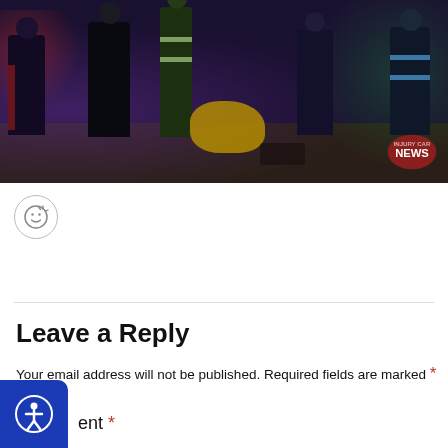[Figure (photo): Night scene showing emergency responders and bystanders gathered around an incident on a dark street. A news watermark reads 'NEWS' in red/dark red in the bottom right corner of the image.]
[Figure (other): Emoji reaction button - smiley face with plus sign, circular border]
Leave a Reply
Your email address will not be published. Required fields are marked *
ent *